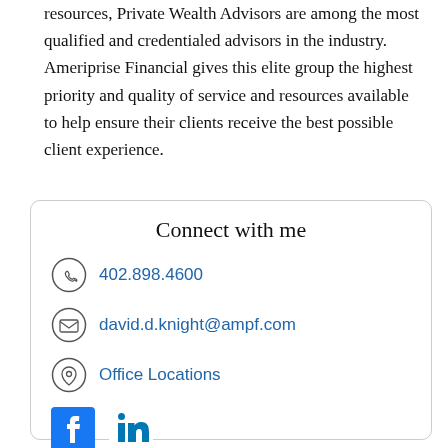resources, Private Wealth Advisors are among the most qualified and credentialed advisors in the industry. Ameriprise Financial gives this elite group the highest priority and quality of service and resources available to help ensure their clients receive the best possible client experience.
Connect with me
402.898.4600
david.d.knight@ampf.com
Office Locations
[Figure (logo): Facebook and LinkedIn social media icons]